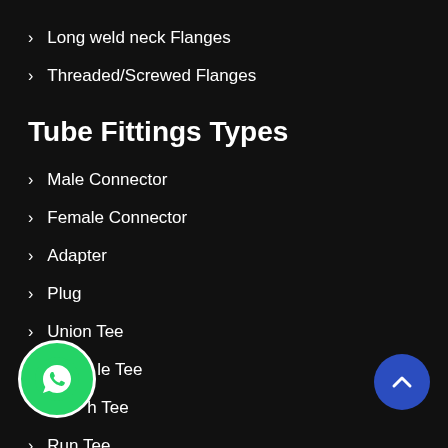> Long weld neck Flanges
> Threaded/Screwed Flanges
Tube Fittings Types
> Male Connector
> Female Connector
> Adapter
> Plug
> Union Tee
> Male Tee
> Branch Tee
> Run Tee
[Figure (logo): WhatsApp icon button (green circle with phone icon)]
[Figure (other): Scroll to top button (blue circle with upward chevron)]